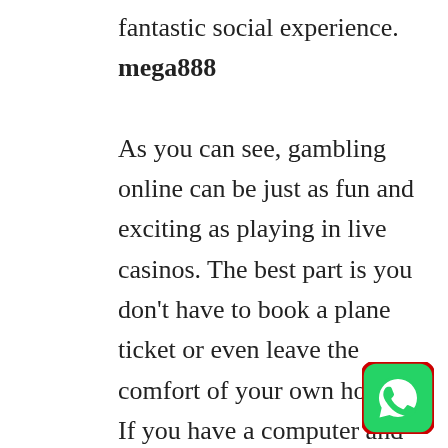fantastic social experience. mega888

As you can see, gambling online can be just as fun and exciting as playing in live casinos. The best part is you don't have to book a plane ticket or even leave the comfort of your own home! If you have a computer and Internet access you can participate in Internet gambling twenty-four hours a day, seven days a week! All you have to do is choose a casino online and start playing and you'll never be sad about leaving the
[Figure (logo): WhatsApp logo icon — green rounded square with white phone handset symbol]